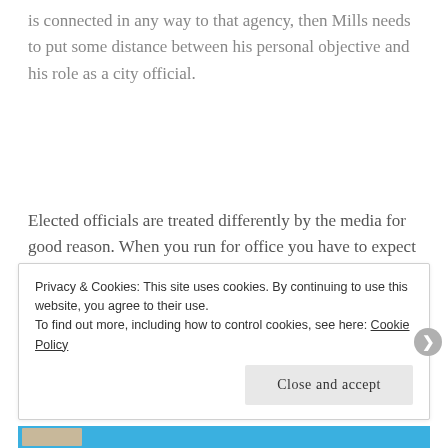is connected in any way to that agency, then Mills needs to put some distance between his personal objective and his role as a city official.
Elected officials are treated differently by the media for good reason. When you run for office you have to expect that.
Privacy & Cookies: This site uses cookies. By continuing to use this website, you agree to their use.
To find out more, including how to control cookies, see here: Cookie Policy
Close and accept